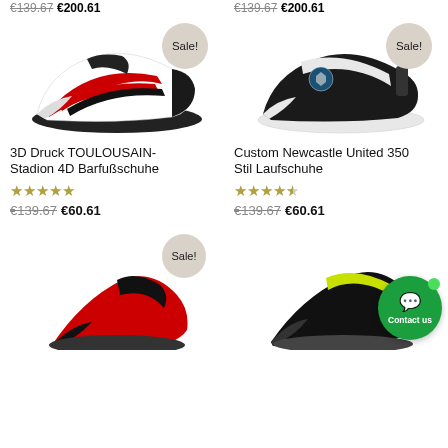€139.67 €200.61   €139.67 €200.61
[Figure (photo): Sneaker with red and black stripes on white base, black sole - 3D Druck TOULOUSAIN-Stadion 4D Barfußschuhe]
[Figure (photo): Sneaker in black and white with Newcastle United logo - Custom Newcastle United 350 Stil Laufschuhe]
Sale!
Sale!
3D Druck TOULOUSAIN-Stadion 4D Barfußschuhe
Custom Newcastle United 350 Stil Laufschuhe
★★★★★
★★★★½
€139.67 €60.61
€139.67 €60.61
[Figure (photo): Red sneaker with black details, partially visible at bottom]
[Figure (photo): Black and yellow-green sneaker, partially visible at bottom]
Sale!
Contact us